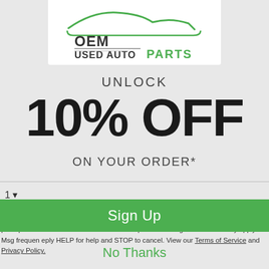[Figure (logo): OEM Used Auto Parts logo with green car silhouette, bold black and green text]
UNLOCK
10% OFF
ON YOUR ORDER*
1 ▾
o receive recurring automated marketing text messages (e.g. cart reminders) at the phon provided. Consent is not a condition to purchase. Msg & data rates may apply. Msg frequen eply HELP for help and STOP to cancel. View our Terms of Service and Privacy Policy.
Sign Up
No Thanks